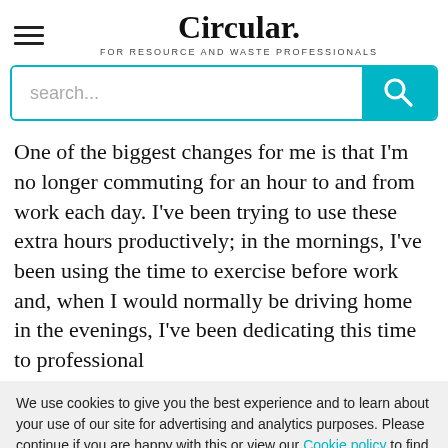Circular. FOR RESOURCE AND WASTE PROFESSIONALS
One of the biggest changes for me is that I'm no longer commuting for an hour to and from work each day. I've been trying to use these extra hours productively; in the mornings, I've been using the time to exercise before work and, when I would normally be driving home in the evenings, I've been dedicating this time to professional
We use cookies to give you the best experience and to learn about your use of our site for advertising and analytics purposes. Please continue if you are happy with this or view our Cookie policy to find out more. Change your cookie settings.
Accept